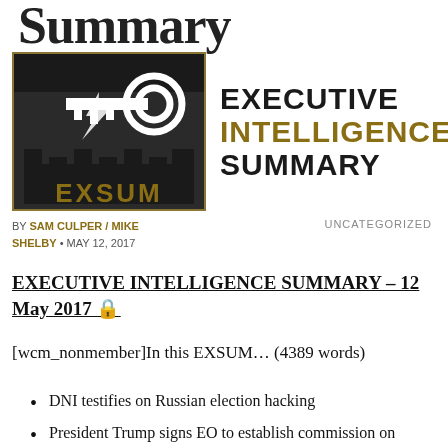Summary
[Figure (logo): Executive Intelligence Summary (EXSUM) logo: a square bordered box with key and castle graphic, text EXSUM, beside large text EXECUTIVE INTELLIGENCE SUMMARY]
BY SAM CULPER / MIKE SHELBY • MAY 12, 2017
UNCATEGORIZED
EXECUTIVE INTELLIGENCE SUMMARY – 12 May 2017 🔒
[wcm_nonmember]In this EXSUM… (4389 words)
DNI testifies on Russian election hacking
President Trump signs EO to establish commission on election integrity